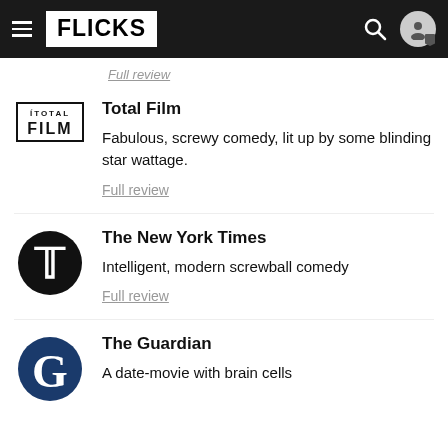FLICKS
Full review
[Figure (logo): Total Film magazine logo — FILM in bold sans-serif with a top bar]
Total Film
Fabulous, screwy comedy, lit up by some blinding star wattage.
Full review
[Figure (logo): New York Times circular logo — stylized T in a black circle]
The New York Times
Intelligent, modern screwball comedy
Full review
[Figure (logo): The Guardian logo — white G on dark navy/blue circle]
The Guardian
A date-movie with brain cells